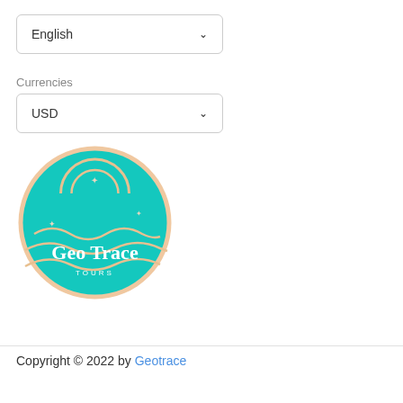English (dropdown)
Currencies
USD (dropdown)
[Figure (logo): Geo Trace Tours circular logo with teal/turquoise background, beige wavy lines forming a sunrise over waves, with sparkle stars, text 'Geo Trace' in large white serif font and 'TOURS' in small white spaced capitals beneath]
Copyright © 2022 by Geotrace